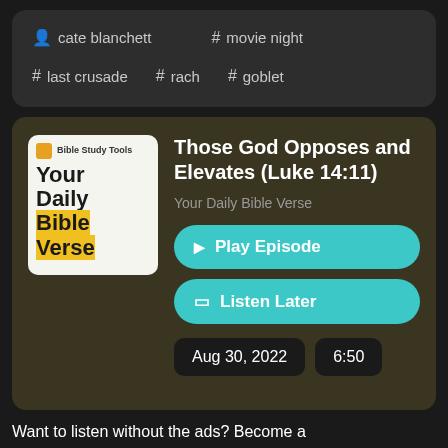cate blanchett
# movie night
# last crusade
# rach
# goblet
Those God Opposes and Elevates (Luke 14:11)
Your Daily Bible Verse
Play Episode
Listen Later
Aug 30, 2022
6:50
Want to listen without the ads? Become a BibleStudyTools.com PLUS Member today:
https://www.biblestudytools.com/subscribe/Meet Our...